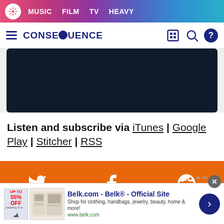MUSIC  FILM  TV  HEAVY
[Figure (logo): Consequence of Sound logo with hamburger menu, search, store, and help icons]
[Figure (photo): Dark navy/black podcast player or video embed area]
Listen and subscribe via iTunes | Google Play | Stitcher | RSS
[Figure (infographic): Orange social sharing bar with Twitter, Facebook, and Reddit icons]
[Figure (screenshot): Belk.com advertisement banner: Belk® - Official Site. Shop for clothing, handbags, jewelry, beauty, home & more! www.belk.com]